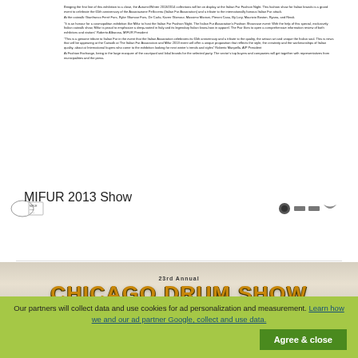[Figure (screenshot): Scanned document page with dense small text about MIFUR Italian Fur Fashion Night event, with logos at the bottom of the document]
MIFUR 2013 Show
Read more
[Figure (screenshot): 23rd Annual CHICAGO DRUM SHOW banner image with gold metallic text on light background]
Our partners will collect data and use cookies for ad personalization and measurement. Learn how we and our ad partner Google, collect and use data.
Agree & close